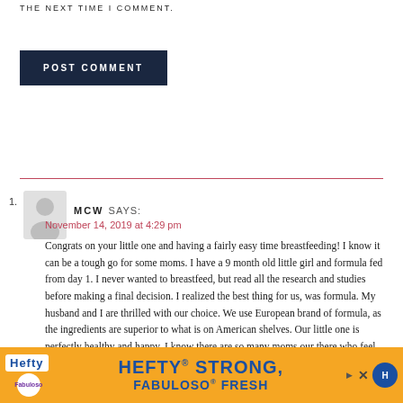THE NEXT TIME I COMMENT.
POST COMMENT
1. MCW SAYS:
November 14, 2019 at 4:29 pm
Congrats on your little one and having a fairly easy time breastfeeding! I know it can be a tough go for some moms. I have a 9 month old little girl and formula fed from day 1. I never wanted to breastfeed, but read all the research and studies before making a final decision. I realized the best thing for us, was formula. My husband and I are thrilled with our choice. We use European brand of formula, as the ingredients are superior to what is on American shelves. Our little one is perfectly healthy and happy. I know there are so many moms our there who feel immense pressure to breastfeed and are really hard on themselves if they cannot, So wanted to comment to let them know that their baby will be just as perfect and they are just as an amazing as a mother as those who breastfeed. And kudos to you for the way you've articulated decisions you've made for your babe...
[Figure (other): Advertisement banner: Hefty STRONG, FABULOSO FRESH with orange background and blue text]